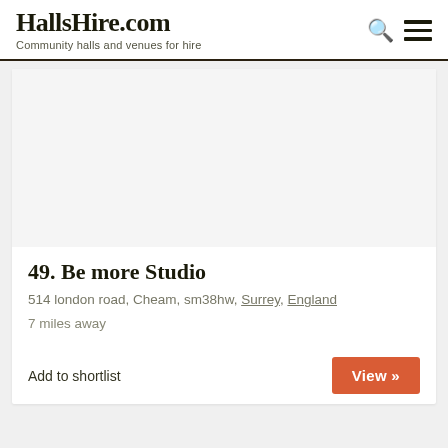HallsHire.com — Community halls and venues for hire
[Figure (photo): Venue listing card image area (blank/white placeholder)]
49. Be more Studio
514 london road, Cheam, sm38hw, Surrey, England
7 miles away
Add to shortlist
View »